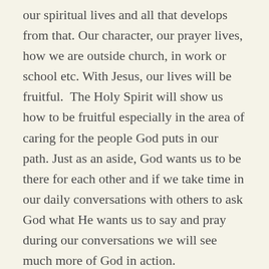our spiritual lives and all that develops from that. Our character, our prayer lives, how we are outside church, in work or school etc. With Jesus, our lives will be fruitful.  The Holy Spirit will show us how to be fruitful especially in the area of caring for the people God puts in our path. Just as an aside, God wants us to be there for each other and if we take time in our daily conversations with others to ask God what He wants us to say and pray during our conversations we will see much more of God in action.
By remaining in Jesus we have the privilege of being called His friend,
“I no longer call you servants, because a servant does not know his master’s business. Instead, I have called you friends for everything that I…